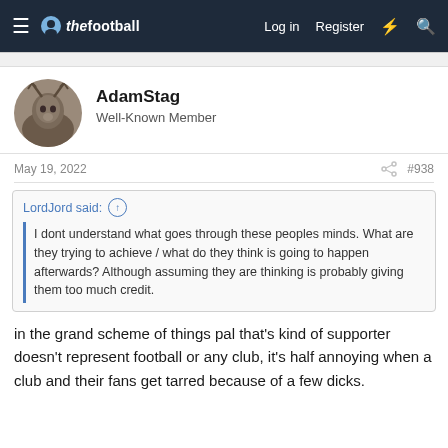thefootballforum.net — Log in  Register
AdamStag
Well-Known Member
May 19, 2022  #938
LordJord said: ↑  I dont understand what goes through these peoples minds. What are they trying to achieve / what do they think is going to happen afterwards? Although assuming they are thinking is probably giving them too much credit.
in the grand scheme of things pal that's kind of supporter doesn't represent football or any club, it's half annoying when a club and their fans get tarred because of a few dicks.